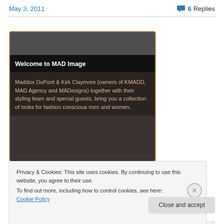May 3, 2011   💬 6 Replies
[Figure (screenshot): Screenshot of MAD Image website welcome screen with dark theme. Shows 'Welcome to MAD Image' banner and text: 'Maddox DuPont & Kirk Claymore (owners of KMADD, MAD Agency and MADesigns) together with their styling team and special guests, bring you a collection of looks for fashion conscious men and women.']
Privacy & Cookies: This site uses cookies. By continuing to use this website, you agree to their use.
To find out more, including how to control cookies, see here: Cookie Policy
Close and accept